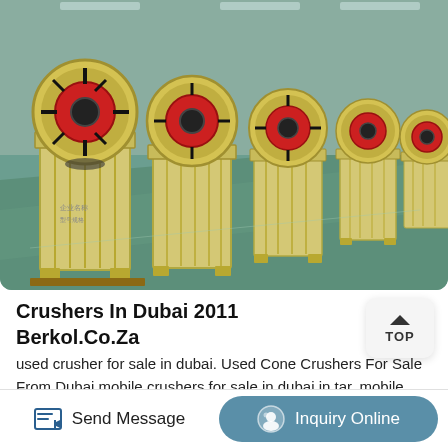[Figure (photo): Photograph of multiple large industrial jaw crushers (yellow/cream colored with red and black wheels) lined up in a factory/warehouse setting with a green floor.]
Crushers In Dubai 2011 Berkol.Co.Za
used crusher for sale in dubai. Used Cone Crushers For Sale From Dubai mobile crushers for sale in dubai in tar. mobile used stone crushers for sale in dubai Dec 30 2011 The Mobile Impact Crushing Plant is widely used in the industry of mining metallurgy MORE INFO. price for mobile stone crushers in ...
Send Message
Inquiry Online